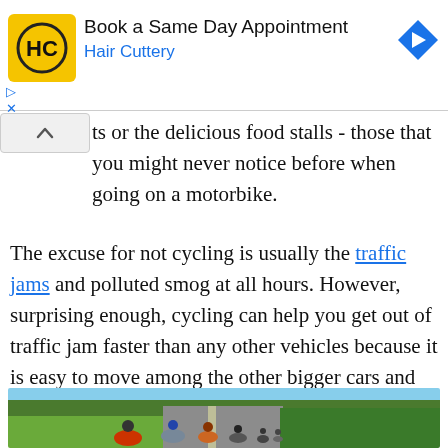[Figure (screenshot): Hair Cuttery advertisement banner with logo, 'Book a Same Day Appointment' heading, 'Hair Cuttery' subtext, and blue navigation arrow icon]
ts or the delicious food stalls - those that you might never notice before when going on a motorbike.
The excuse for not cycling is usually the traffic jams and polluted smog at all hours. However, surprising enough, cycling can help you get out of traffic jam faster than any other vehicles because it is easy to move among the other bigger cars and motorbikes.
[Figure (photo): Group of cyclists riding bicycles along a rural road flanked by green rice fields and palm trees]